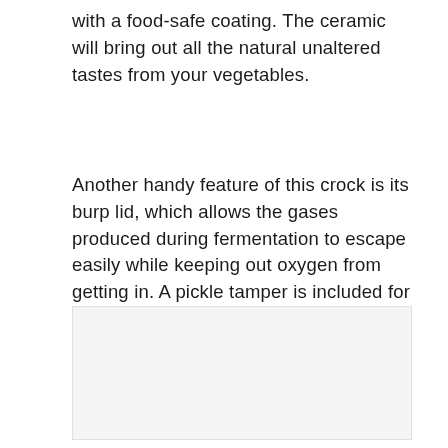with a food-safe coating. The ceramic will bring out all the natural unaltered tastes from your vegetables.
Another handy feature of this crock is its burp lid, which allows the gases produced during fermentation to escape easily while keeping out oxygen from getting in. A pickle tamper is included for enhanced handling.
[Figure (photo): Image placeholder area, light gray background]